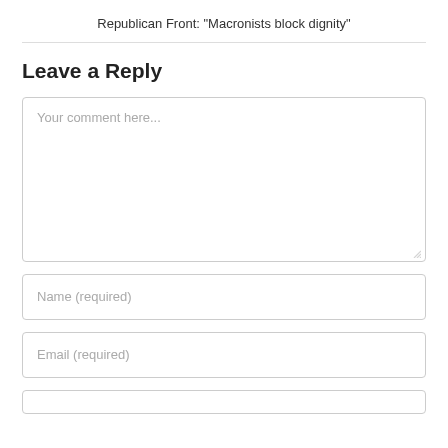Republican Front: "Macronists block dignity"
Leave a Reply
Your comment here...
Name (required)
Email (required)